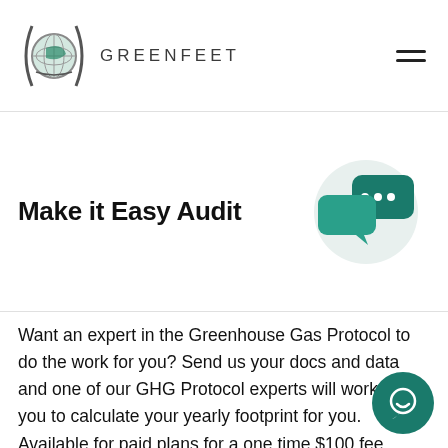GREENFEET
Make it Easy Audit
[Figure (illustration): Two teal speech bubble / chat icons on a light grey circular background]
Want an expert in the Greenhouse Gas Protocol to do the work for you? Send us your docs and data and one of our GHG Protocol experts will work with you to calculate your yearly footprint for you. Available for paid plans for a one time $100 fee.
[Figure (illustration): Teal round chat widget button with white chat icon in bottom-right corner]